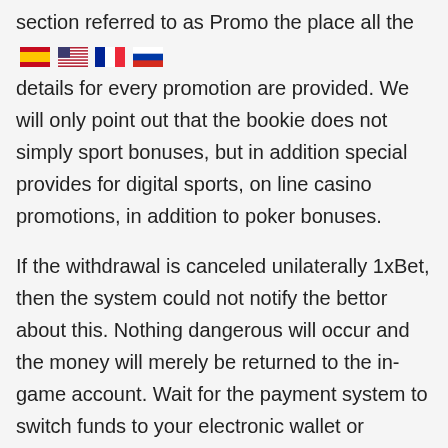section referred to as Promo the place all the details for every promotion are provided. We will only point out that the bookie does not simply sport bonuses, but in addition special provides for digital sports, on line casino promotions, in addition to poker bonuses.
If the withdrawal is canceled unilaterally 1xBet, then the system could not notify the bettor about this. Nothing dangerous will occur and the money will merely be returned to the in-game account. Wait for the payment system to switch funds to your electronic wallet or financial institution card.
Getting signed up on 1xbet comes with “100% welcome bonus” meant for newcomers equals